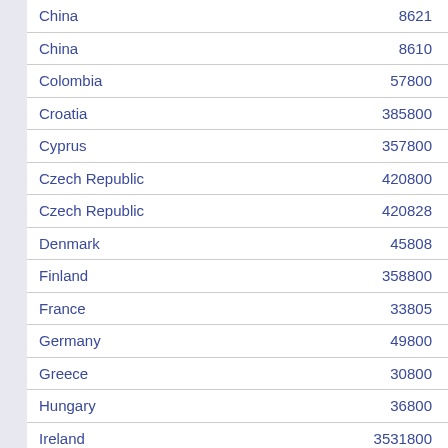| Country | Value |
| --- | --- |
| China | 8621 |
| China | 8610 |
| Colombia | 57800 |
| Croatia | 385800 |
| Cyprus | 357800 |
| Czech Republic | 420800 |
| Czech Republic | 420828 |
| Denmark | 45808 |
| Finland | 358800 |
| France | 33805 |
| Germany | 49800 |
| Greece | 30800 |
| Hungary | 36800 |
| Ireland | 3531800 |
| Israel | 9721801 |
| Italy | 39800 |
| Korea South | 82808 |
| Lithuania | 370800 |